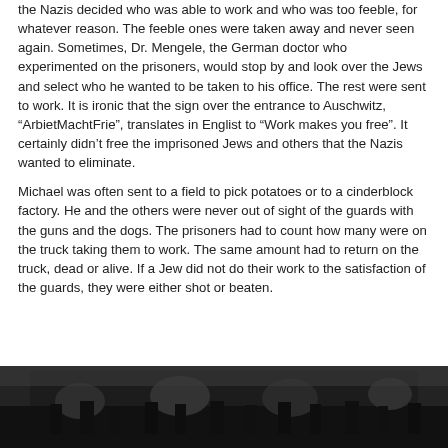the Nazis decided who was able to work and who was too feeble, for whatever reason. The feeble ones were taken away and never seen again. Sometimes, Dr. Mengele, the German doctor who experimented on the prisoners, would stop by and look over the Jews and select who he wanted to be taken to his office. The rest were sent to work. It is ironic that the sign over the entrance to Auschwitz, “ArbietMachtFrie”, translates in Englist to “Work makes you free”. It certainly didn’t free the imprisoned Jews and others that the Nazis wanted to eliminate.
Michael was often sent to a field to pick potatoes or to a cinderblock factory. He and the others were never out of sight of the guards with the guns and the dogs. The prisoners had to count how many were on the truck taking them to work. The same amount had to return on the truck, dead or alive. If a Jew did not do their work to the satisfaction of the guards, they were either shot or beaten.
[Figure (photo): Black and white historical photograph, partially visible at the bottom of the page, showing a dark scene.]